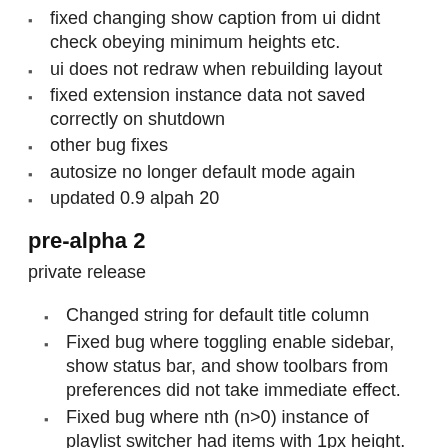fixed changing show caption from ui didnt check obeying minimum heights etc.
ui does not redraw when rebuilding layout
fixed extension instance data not saved correctly on shutdown
other bug fixes
autosize no longer default mode again
updated 0.9 alpah 20
pre-alpha 2
private release
Changed string for default title column
Fixed bug where toggling enable sidebar, show status bar, and show toolbars from preferences did not take immediate effect.
Fixed bug where nth (n>0) instance of playlist switcher had items with 1px height.
Fixed a selection bug where up/down keys had no effect if first/last item on playlist was focused but